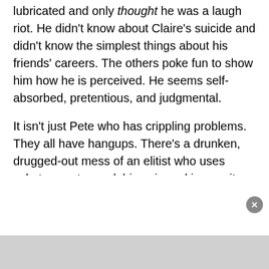lubricated and only thought he was a laugh riot. He didn't know about Claire's suicide and didn't know the simplest things about his friends' careers. The others poke fun to show him how he is perceived. He seems self-absorbed, pretentious, and judgmental.
It isn't just Pete who has crippling problems. They all have hangups. There's a drunken, drugged-out mess of an elitist who uses substances to mask his pain and insecurity. He worries about finding himself and thinks Pete is snubbing his business ideas. Claire is still in love with her university crush Pete and suffers from bouts of depression. George and Fig have a marriage of convenience and desperately want it to be more. Only Harry and Sonja seem to be secure and stable. Sonja is a lifeline for Pete, and her arrival in a beam o